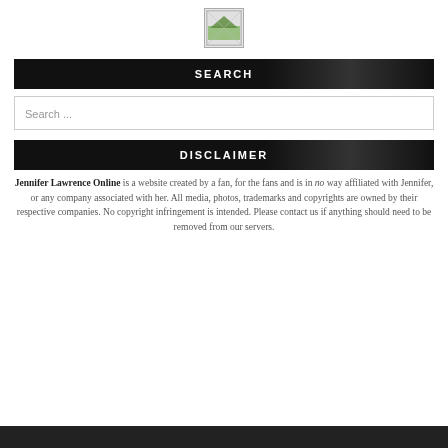[logo image]
SEARCH
Search ...
DISCLAIMER
Jennifer Lawrence Online is a website created by a fan, for the fans and is in no way affiliated with Jennifer, or any company associated with her. All media, photos, trademarks and copyrights are owned by their respective companies. No copyright infringement is intended. Please contact us if anything should need to be removed from our servers.